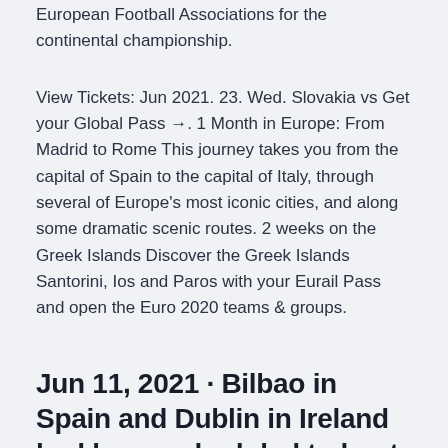European Football Associations for the continental championship.
View Tickets: Jun 2021. 23. Wed. Slovakia vs Get your Global Pass →. 1 Month in Europe: From Madrid to Rome This journey takes you from the capital of Spain to the capital of Italy, through several of Europe's most iconic cities, and along some dramatic scenic routes. 2 weeks on the Greek Islands Discover the Greek Islands Santorini, Ios and Paros with your Eurail Pass and open the Euro 2020 teams & groups.
Jun 11, 2021 · Bilbao in Spain and Dublin in Ireland had been scheduled to host matches, but after local authorities didn't permit